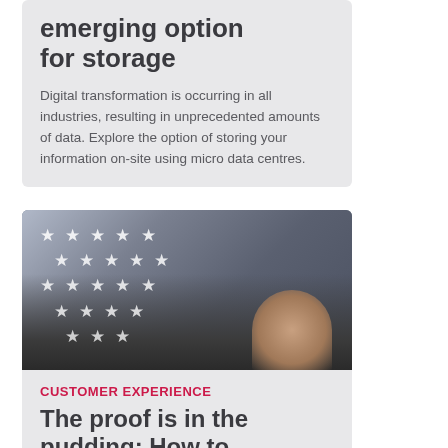emerging option for storage
Digital transformation is occurring in all industries, resulting in unprecedented amounts of data. Explore the option of storing your information on-site using micro data centres.
[Figure (photo): Person typing on a laptop with white star rating icons overlaid diagonally across the image]
CUSTOMER EXPERIENCE
The proof is in the pudding: How to